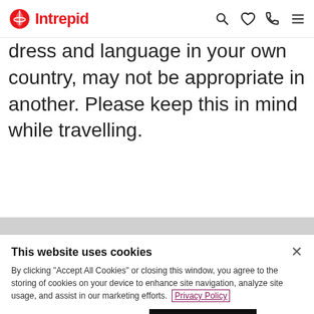Intrepid
dress and language in your own country, may not be appropriate in another. Please keep this in mind while travelling.
This website uses cookies
By clicking "Accept All Cookies" or closing this window, you agree to the storing of cookies on your device to enhance site navigation, analyze site usage, and assist in our marketing efforts. Privacy Policy
Cookies Settings
Accept All Cookies